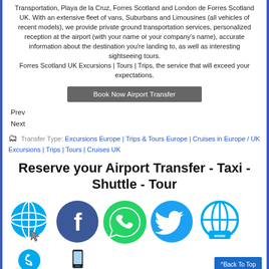Transportation, Playa de la Cruz, Forres Scotland and London de Forres Scotland UK. With an extensive fleet of vans, Suburbans and Limousines (all vehicles of recent models), we provide private ground transportation services, personalized reception at the airport (with your name or your company's name), accurate information about the destination you're landing to, as well as interesting sightseeing tours.
Forres Scotland UK Excursions | Tours | Trips, the service that will exceed your expectations.
[Figure (other): Book Now Airport Transfer button]
Prev
Next
Transfer Type: Excursions Europe | Trips & Tours Europe | Cruises in Europe / UK Excursions | Trips | Tours | Cruises UK
Reserve your Airport Transfer - Taxi - Shuttle - Tour
[Figure (illustration): Row of social media and web icons: globe/cursor, Facebook, WhatsApp, Twitter, WWW globe. Partial second row with partial icons visible at bottom.]